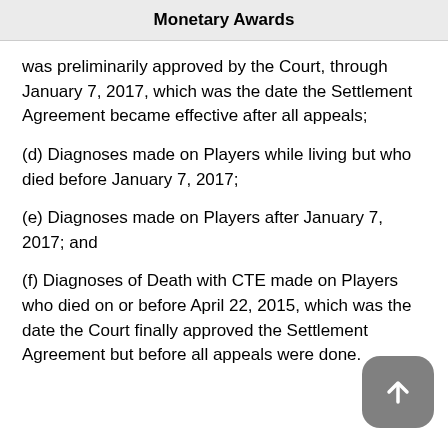Monetary Awards
was preliminarily approved by the Court, through January 7, 2017, which was the date the Settlement Agreement became effective after all appeals;
(d) Diagnoses made on Players while living but who died before January 7, 2017;
(e) Diagnoses made on Players after January 7, 2017; and
(f) Diagnoses of Death with CTE made on Players who died on or before April 22, 2015, which was the date the Court finally approved the Settlement Agreement but before all appeals were done.